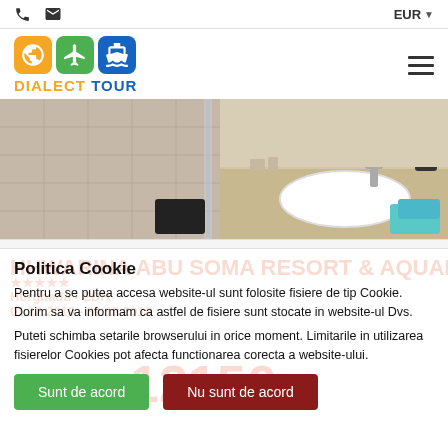EUR
[Figure (logo): Dialect Tour logo with globe, airplane, and cruise ship icons in orange, green, and blue squares]
[Figure (photo): Hotel bathroom with marble countertop, white oval sink, blue towels, shower enclosure with glass partition]
Politica Cookie
Pentru a se putea accesa website-ul sunt folosite fisiere de tip Cookie. Dorim sa va informam ca astfel de fisiere sunt stocate in website-ul Dvs.
Puteti schimba setarile browserului in orice moment. Limitarile in utilizarea fisierelor Cookies pot afecta functionarea corecta a website-ului.
Sunt de acord
Nu sunt de acord